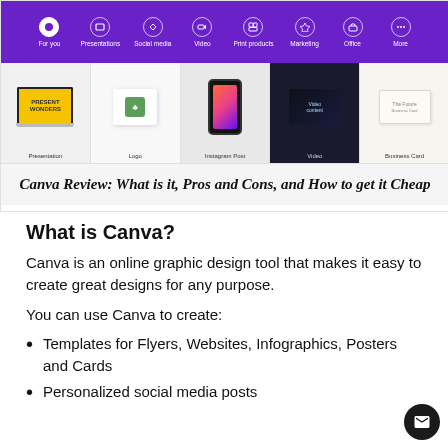[Figure (screenshot): Canva website screenshot showing purple navigation bar with icons (For you, Presentations, Social media, Video, Print products, Marketing, Office, More) and template thumbnails below (Presentation, Logo, Instagram Post, Video, Business Card)]
Canva Review: What is it, Pros and Cons, and How to get it Cheap
What is Canva?
Canva is an online graphic design tool that makes it easy to create great designs for any purpose.
You can use Canva to create:
Templates for Flyers, Websites, Infographics, Posters and Cards
Personalized social media posts